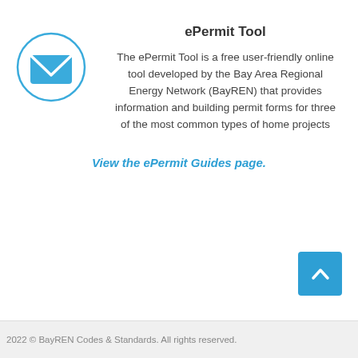[Figure (illustration): Blue envelope icon inside a light-blue outlined circle]
ePermit Tool
The ePermit Tool is a free user-friendly online tool developed by the Bay Area Regional Energy Network (BayREN) that provides information and building permit forms for three of the most common types of home projects
View the ePermit Guides page.
[Figure (other): Blue square button with upward-pointing chevron arrow (scroll-to-top button)]
2022 © BayREN Codes & Standards. All rights reserved.